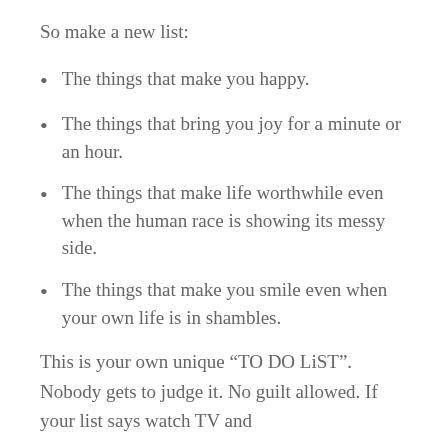So make a new list:
The things that make you happy.
The things that bring you joy for a minute or an hour.
The things that make life worthwhile even when the human race is showing its messy side.
The things that make you smile even when your own life is in shambles.
This is your own unique “TO DO LiST”. Nobody gets to judge it. No guilt allowed. If your list says watch TV and